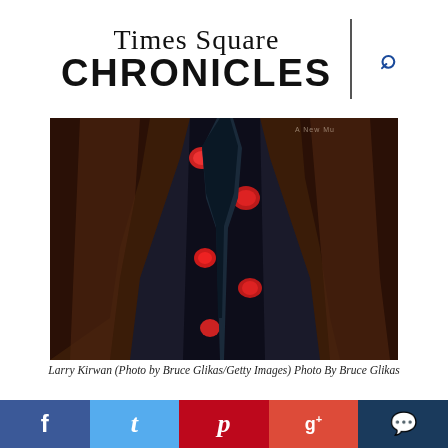Times Square CHRONICLES
[Figure (photo): Close-up photo of a person wearing a brown leather jacket over a black floral shirt with red flowers, and a dark navy tie.]
Larry Kirwan (Photo by Bruce Glikas/Getty Images) Photo By Bruce Glikas
[Figure (photo): Bottom strip showing partial view of a theater marquee with repeated text in golden/bronze lettering.]